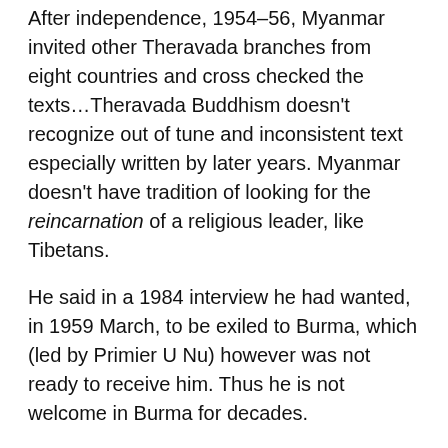After independence, 1954–56, Myanmar invited other Theravada branches from eight countries and cross checked the texts…Theravada Buddhism doesn't recognize out of tune and inconsistent text especially written by later years. Myanmar doesn't have tradition of looking for the reincarnation of a religious leader, like Tibetans.
He said in a 1984 interview he had wanted, in 1959 March, to be exiled to Burma, which (led by Primier U Nu) however was not ready to receive him. Thus he is not welcome in Burma for decades.
Taiwan: One would expect Taiwan, predominantly Buddhist, that views China as its enemy should welcome him. But he was not